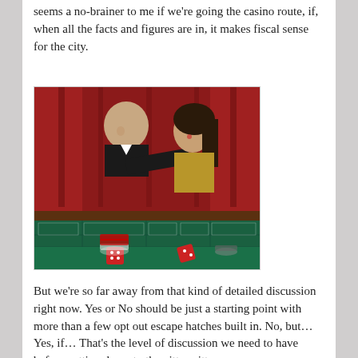seems a no-brainer to me if we're going the casino route, if, when all the facts and figures are in, it makes fiscal sense for the city.
[Figure (photo): A bald man in a suit leaning over a casino craps table rolling dice, with a woman in a gold dress beside him. Red curtain in background, green felt table with red dice and chips visible.]
But we're so far away from that kind of detailed discussion right now. Yes or No should be just a starting point with more than a few opt out escape hatches built in. No, but... Yes, if... That's the level of discussion we need to have before getting down to the nitty gritty.